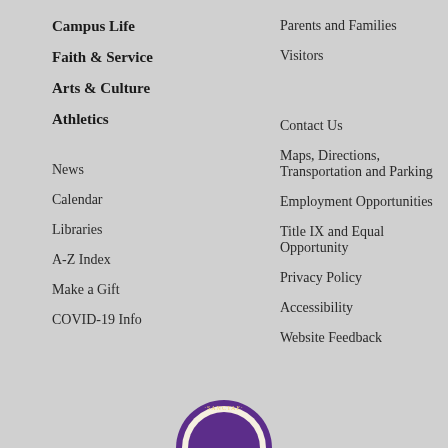Campus Life
Faith & Service
Arts & Culture
Athletics
Parents and Families
Visitors
News
Calendar
Libraries
A-Z Index
Make a Gift
COVID-19 Info
Contact Us
Maps, Directions, Transportation and Parking
Employment Opportunities
Title IX and Equal Opportunity
Privacy Policy
Accessibility
Website Feedback
[Figure (logo): University seal with text SANCTAE visible, purple and gold circular seal partially visible at bottom center]